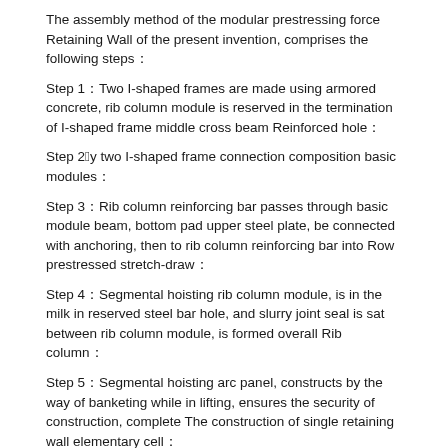The assembly method of the modular prestressing force Retaining Wall of the present invention, comprises the following steps：
Step 1：Two I-shaped frames are made using armored concrete, rib column module is reserved in the termination of I-shaped frame middle cross beam Reinforced hole：
Step 2：By two I-shaped frame connection composition basic modules：
Step 3：Rib column reinforcing bar passes through basic module beam, bottom pad upper steel plate, be connected with anchoring, then to rib column reinforcing bar into Row prestressed stretch-draw：
Step 4：Segmental hoisting rib column module, is in the milk in reserved steel bar hole, and slurry joint seal is sat between rib column module, is formed overall Rib column：
Step 5：Segmental hoisting arc panel, constructs by the way of banketing while in lifting, ensures the security of construction, complete The construction of single retaining wall elementary cell：